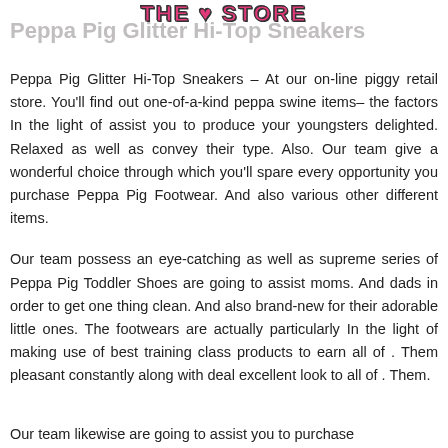THE ♥ STORE
Peppa Pig Glitter Hi-Top Sneakers
Peppa Pig Glitter Hi-Top Sneakers – At our on-line piggy retail store. You'll find out one-of-a-kind peppa swine items– the factors In the light of assist you to produce your youngsters delighted. Relaxed as well as convey their type. Also. Our team give a wonderful choice through which you'll spare every opportunity you purchase Peppa Pig Footwear. And also various other different items.
Our team possess an eye-catching as well as supreme series of Peppa Pig Toddler Shoes are going to assist moms. And dads in order to get one thing clean. And also brand-new for their adorable little ones. The footwears are actually particularly In the light of making use of best training class products to earn all of . Them pleasant constantly along with deal excellent look to all of . Them.
Our team likewise are going to assist you to purchase